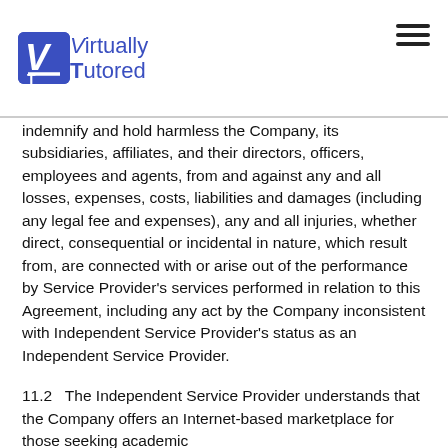Virtually Tutored
indemnify and hold harmless the Company, its subsidiaries, affiliates, and their directors, officers, employees and agents, from and against any and all losses, expenses, costs, liabilities and damages (including any legal fee and expenses), any and all injuries, whether direct, consequential or incidental in nature, which result from, are connected with or arise out of the performance by Service Provider's services performed in relation to this Agreement, including any act by the Company inconsistent with Independent Service Provider's status as an Independent Service Provider.
11.2   The Independent Service Provider understands that the Company offers an Internet-based marketplace for those seeking academic